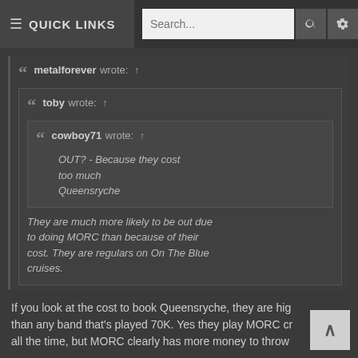≡ QUICK LINKS  Search...  🔍  ⚙
metalforever wrote: ↑
toby wrote: ↑
cowboy71 wrote: ↑
OUT? - Because they cost too much Queensryche
They are much more likely to be out due to doing MORC than because of their cost. They are regulars on On The Blue cruises.
Qyeensryche is on Kiss Kruise 10 coming up around Halloween this year !
If you look at the cost to book Queensryche, they are hig than any band that's played 70K. Yes they play MORC cr all the time, but MORC clearly has more money to throw